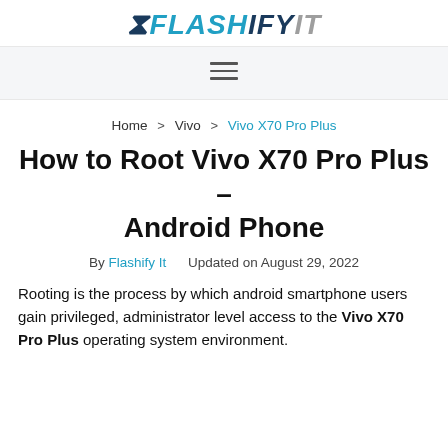FLASHIFY IT
≡ (navigation menu icon)
Home > Vivo > Vivo X70 Pro Plus
How to Root Vivo X70 Pro Plus – Android Phone
By Flashify It   Updated on August 29, 2022
Rooting is the process by which android smartphone users gain privileged, administrator level access to the Vivo X70 Pro Plus operating system environment.